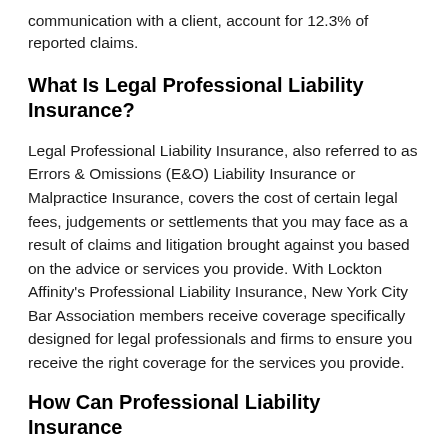communication with a client, account for 12.3% of reported claims.
What Is Legal Professional Liability Insurance?
Legal Professional Liability Insurance, also referred to as Errors & Omissions (E&O) Liability Insurance or Malpractice Insurance, covers the cost of certain legal fees, judgements or settlements that you may face as a result of claims and litigation brought against you based on the advice or services you provide. With Lockton Affinity's Professional Liability Insurance, New York City Bar Association members receive coverage specifically designed for legal professionals and firms to ensure you receive the right coverage for the services you provide.
How Can Professional Liability Insurance